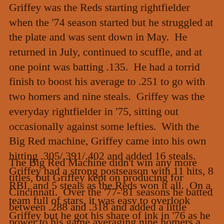Griffey was the Reds starting rightfielder when the '74 season started but he struggled at the plate and was sent down in May. He returned in July, continued to scuffle, and at one point was batting .135. He had a torrid finish to boost his average to .251 to go with two homers and nine steals. Griffey was the everyday rightfielder in '75, sitting out occasionally against some lefties. With the Big Red machine, Griffey came into his own hitting .305/.391/.402 and added 16 steals. Griffey had a strong postseason with 11 hits, 8 RBI, and 5 steals as the Reds won it all. On a team full of stars, it was easy to overlook Griffey but he got his share of ink in '76 as he batted .336 and stole 34 bases. The Reds repeated as World Champs with Griffey hitting well in the NLCS (.385) but slumping (.059) in the World Series.
The Big Red Machine didn't win any more titles, but Griffey kept on producing for Cincinnati. Over the '77-'81 seasons he batted between .288 and .318 and added a little power to his game averaging nine homers a season. After that it's on to the Reds data, Griffey in the Major leagues...